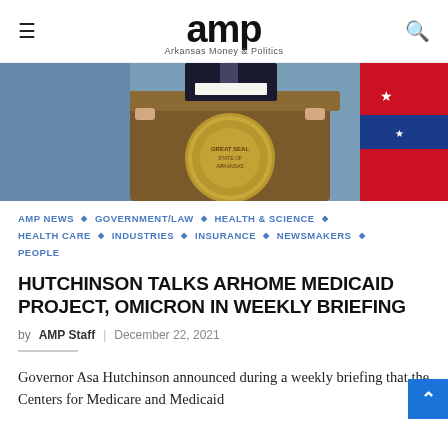amp — Arkansas Money & Politics
[Figure (photo): Person in dark suit standing at a wooden podium bearing the Great Seal of the State of Arkansas, with Arkansas state flag visible on the right side of the image]
AMP NEWS ◆ GOVERNMENT/LAW ◆ HEALTH & SCIENCE ◆ HEALTH CARE ◆ INDUSTRIES ◆ INSURANCE ◆ NEWSMAKERS ◆ PEOPLE
HUTCHINSON TALKS ARHOME MEDICAID PROJECT, OMICRON IN WEEKLY BRIEFING
by AMP Staff | December 22, 2021
Governor Asa Hutchinson announced during a weekly briefing that the Centers for Medicare and Medicaid